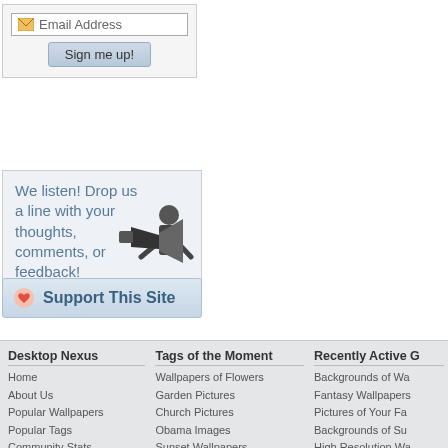[Figure (screenshot): Email address input field with envelope icon]
[Figure (screenshot): Sign me up! button]
We listen! Drop us a line with your thoughts, comments, or feedback!
[Figure (illustration): Black and white illustration of man with megaphone]
[Figure (screenshot): Support This Site button with heart icon]
Desktop Nexus
Home
About Us
Popular Wallpapers
Popular Tags
Community Stats
Member List
Contact Us
Tags of the Moment
Wallpapers of Flowers
Garden Pictures
Church Pictures
Obama Images
Sunset Wallpapers
Thanksgiving Wallpapers
Christmas Wallpapers
Recently Active G
Backgrounds of Wa
Fantasy Wallpapers
Pictures of Your Fa
Backgrounds of Su
High Resolution Wa
Backgrounds of De
Backgrounds of Bu
Privacy Policy | Terms of Service | Partnerships | DMCA Copyright Violation
© Desktop Nexus - All rights reserved.
Page rendered with 6 queries (and 0 cached) in 0.077 seconds from server 103.